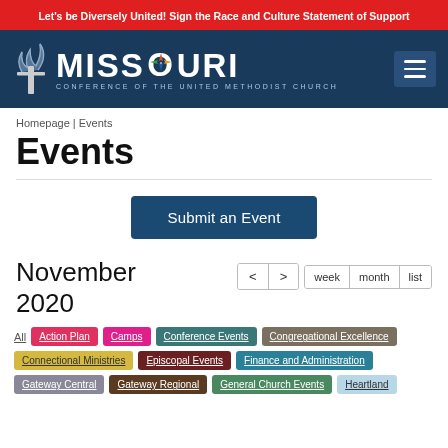Let's be Diversely United! Sign the Race and Culture Statement of Support
[Figure (logo): Missouri Conference of the United Methodist Church logo with cross/flame and compass rose star in letter O]
Homepage | Events
Events
Submit an Event
November 2020
All | Action Plan | Camps | Conference Events | Congregational Excellence | Connectional Ministries | Episcopal Events | Finance and Administration | Gateway Central | Gateway Regional | General Church Events | Heartland